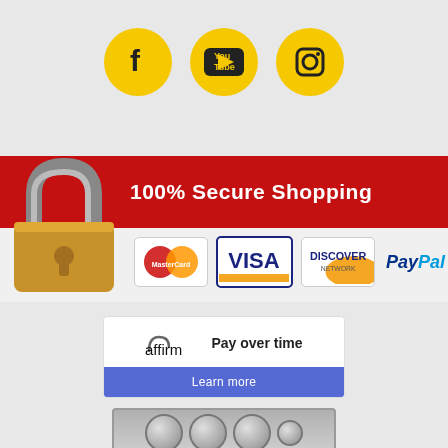[Figure (infographic): Three yellow circular social media icons: Facebook (f), YouTube, and Instagram camera icon]
[Figure (infographic): 100% Secure Shopping banner with padlock image and payment logos: MasterCard, Visa, Discover Network, PayPal]
[Figure (infographic): Affirm Pay over time box with Learn more button]
[Figure (infographic): Coins/medals image partially visible above sign up bar]
SIGN UP AND SAVE!